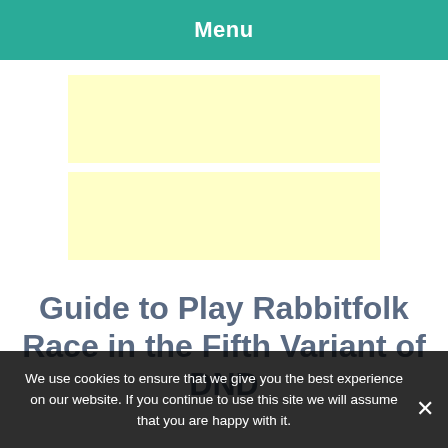Menu
[Figure (other): Light yellow advertisement placeholder block 1]
[Figure (other): Light yellow advertisement placeholder block 2]
Guide to Play Rabbitfolk Race in the Fifth Variant of DND
We use cookies to ensure that we give you the best experience on our website. If you continue to use this site we will assume that you are happy with it.